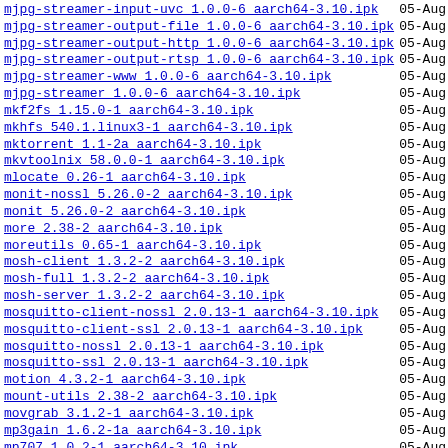mjpg-streamer-input-uvc 1.0.0-6 aarch64-3.10.ipk   05-Aug
mjpg-streamer-output-file 1.0.0-6 aarch64-3.10.ipk   05-Aug
mjpg-streamer-output-http 1.0.0-6 aarch64-3.10.ipk   05-Aug
mjpg-streamer-output-rtsp 1.0.0-6 aarch64-3.10.ipk   05-Aug
mjpg-streamer-www 1.0.0-6 aarch64-3.10.ipk   05-Aug
mjpg-streamer 1.0.0-6 aarch64-3.10.ipk   05-Aug
mkf2fs 1.15.0-1 aarch64-3.10.ipk   05-Aug
mkhfs 540.1.linux3-1 aarch64-3.10.ipk   05-Aug
mktorrent 1.1-2a aarch64-3.10.ipk   05-Aug
mkvtoolnix 58.0.0-1 aarch64-3.10.ipk   05-Aug
mlocate 0.26-1 aarch64-3.10.ipk   05-Aug
monit-nossl 5.26.0-2 aarch64-3.10.ipk   05-Aug
monit 5.26.0-2 aarch64-3.10.ipk   05-Aug
more 2.38-2 aarch64-3.10.ipk   05-Aug
moreutils 0.65-1 aarch64-3.10.ipk   05-Aug
mosh-client 1.3.2-2 aarch64-3.10.ipk   05-Aug
mosh-full 1.3.2-2 aarch64-3.10.ipk   05-Aug
mosh-server 1.3.2-2 aarch64-3.10.ipk   05-Aug
mosquitto-client-nossl 2.0.13-1 aarch64-3.10.ipk   05-Aug
mosquitto-client-ssl 2.0.13-1 aarch64-3.10.ipk   05-Aug
mosquitto-nossl 2.0.13-1 aarch64-3.10.ipk   05-Aug
mosquitto-ssl 2.0.13-1 aarch64-3.10.ipk   05-Aug
motion 4.3.2-1 aarch64-3.10.ipk   05-Aug
mount-utils 2.38-2 aarch64-3.10.ipk   05-Aug
movgrab 3.1.2-1 aarch64-3.10.ipk   05-Aug
mp3gain 1.6.2-1a aarch64-3.10.ipk   05-Aug
mp707 1.0.2-1 aarch64-3.10.ipk   05-Aug
mpc 0.34-1 aarch64-3.10.ipk   05-Aug
mpd-full 0.23.8-2 aarch64-3.10.ipk   05-Aug
mpd-mini 0.23.8-2 aarch64-3.10.ipk   05-Aug